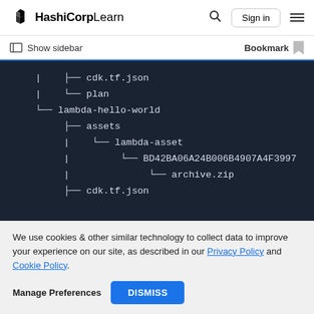HashiCorp Learn — Sign in
Show sidebar   Bookmark
[Figure (screenshot): Terminal directory tree showing: | ├── cdk.tf.json | └── plan └── lambda-hello-world ├── assets | └── lambda-asset | └── BD42BA06A24B006B4907A4F3997 | └── archive.zip ├── cdk.tf.json]
We use cookies & other similar technology to collect data to improve your experience on our site, as described in our Privacy Policy and Cookie Policy.
Manage Preferences   DISMISS